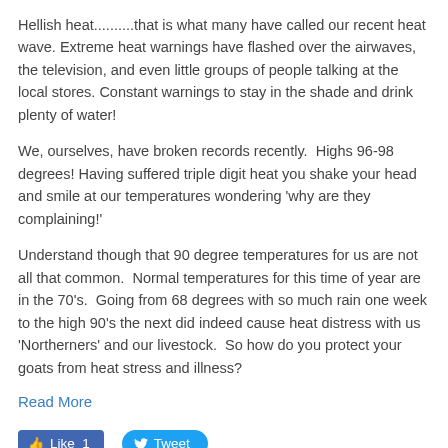Hellish heat..........that is what many have called our recent heat wave. Extreme heat warnings have flashed over the airwaves, the television, and even little groups of people talking at the local stores. Constant warnings to stay in the shade and drink plenty of water!
We, ourselves, have broken records recently. Highs 96-98 degrees! Having suffered triple digit heat you shake your head and smile at our temperatures wondering 'why are they complaining!'
Understand though that 90 degree temperatures for us are not all that common. Normal temperatures for this time of year are in the 70's. Going from 68 degrees with so much rain one week to the high 90's the next did indeed cause heat distress with us 'Northerners' and our livestock. So how do you protect your goats from heat stress and illness?
Read More
[Figure (other): Facebook Like button showing count of 1 and Twitter Tweet button]
0 Comments